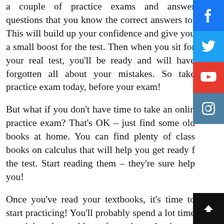a couple of practice exams and answer questions that you know the correct answers to. This will build up your confidence and give you a small boost for the test. Then when you sit for your real test, you'll be ready and will have forgotten all about your mistakes. So take practice exam today, before your exam!
But what if you don't have time to take an online practice exam? That's OK – just find some old books at home. You can find plenty of classic books on calculus that will help you get ready for the test. Start reading them – they're sure to help you!
Once you've read your textbooks, it's time to start practicing! You'll probably spend a lot of time practicing the problems from the text book, and then you'll do some more problem